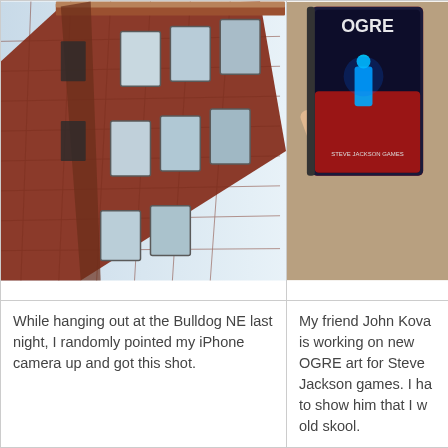[Figure (photo): Upward angled photo of a red brick multi-story building, taken with an iPhone camera at the Bulldog NE]
[Figure (photo): A hand holding a tablet/book showing OGRE game art for Steve Jackson Games, featuring a sci-fi character with blue/red tones]
While hanging out at the Bulldog NE last night, I randomly pointed my iPhone camera up and got this shot.
My friend John Kova is working on new OGRE art for Steve Jackson games. I ha to show him that I w old skool.